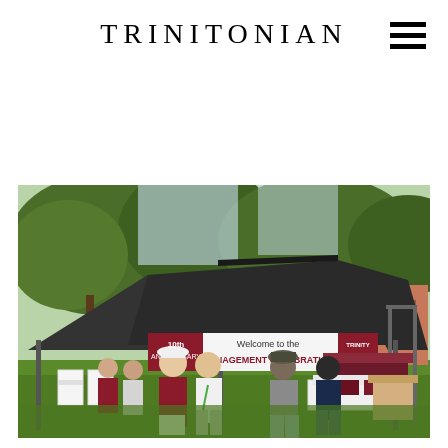TRINITONIAN
[Figure (photo): Outdoor event at Trinity University with a large dark canopy tent. A banner reads 'Welcome to the Management Celebration' with '10th Anniversary' and Trinity University logo visible. Several people in maroon and casual attire are gathered on a grass lawn under oak trees. White furniture and decor with maroon accents are set up under the tent.]